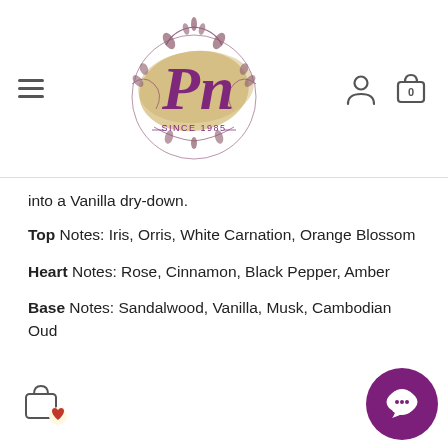[Figure (logo): PN perfumery logo with cursive Pn initials, gold brushstroke background, floral wreath, SINCE 1985 text]
into a Vanilla dry-down.
Top Notes: Iris, Orris, White Carnation, Orange Blossom
Heart Notes: Rose, Cinnamon, Black Pepper, Amber
Base Notes: Sandalwood, Vanilla, Musk, Cambodian Oud